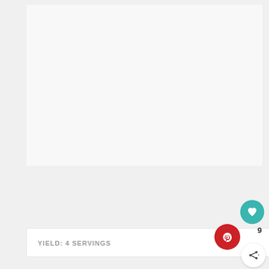[Figure (photo): Large light gray image placeholder area at the top of the page]
YIELD: 4 SERVINGS
[Figure (other): Teal circular heart/favorite button icon]
[Figure (other): Red circular Pinterest button icon with count of 9]
[Figure (other): White circular share button icon]